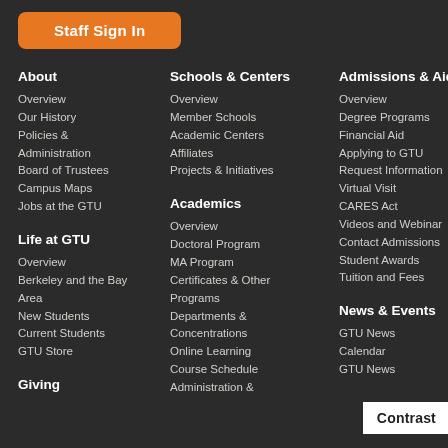Staff Sign In
About
Overview
Our History
Policies & Administration
Board of Trustees
Campus Maps
Jobs at the GTU
Life at GTU
Overview
Berkeley and the Bay Area
New Students
Current Students
GTU Store
Giving
Schools & Centers
Overview
Member Schools
Academic Centers
Affiliates
Projects & Initiatives
Academics
Overview
Doctoral Program
MA Program
Certificates & Other Programs
Departments & Concentrations
Online Learning
Course Schedule
Administration &
Admissions & Aid
Overview
Degree Programs
Financial Aid
Applying to GTU
Request Information
Virtual Visit
CARES Act
Videos and Webinar
Contact Admissions
Student Awards
Tuition and Fees
News & Events
GTU News
Calendar
GTU News
Contrast